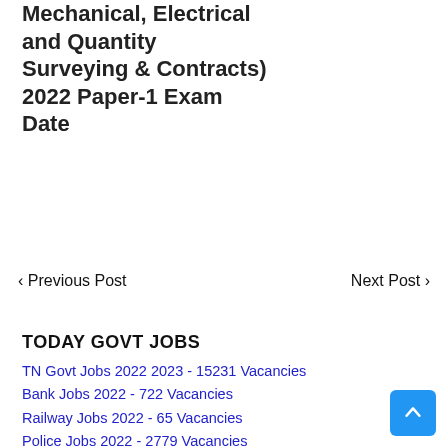Mechanical, Electrical and Quantity Surveying & Contracts) 2022 Paper-1 Exam Date
< Previous Post    Next Post >
TODAY GOVT JOBS
TN Govt Jobs 2022 2023 - 15231 Vacancies
Bank Jobs 2022 - 722 Vacancies
Railway Jobs 2022 - 65 Vacancies
Police Jobs 2022 - 2779 Vacancies
Central Govt Jobs 2022 - 18675 Vacancies
State Govt Jobs 2022 - 2739 Vacancies
Driver Recruitment 2022 - 122 Vacancies
TNCSC Recruitment 2022 - 73 Vacancies
10th, 12th Govt Jobs 2022 - 7480 Vacancies